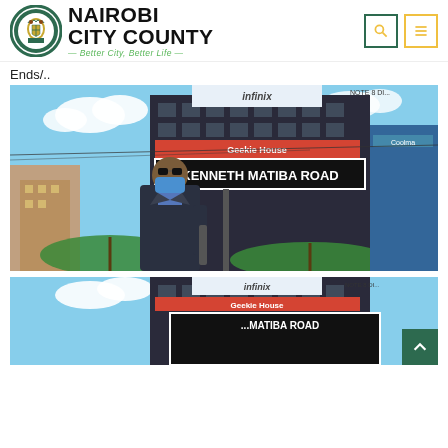Nairobi City County — Better City, Better Life
Ends/..
[Figure (photo): A man in a dark suit and blue face mask stands in front of a building with a street sign reading 'KENNETH MATIBA ROAD'. There are green umbrellas, billboards including an Infinix advertisement, and a busy urban street scene in Nairobi.]
[Figure (photo): Partial view of the same scene — street sign partially visible reading 'MATIBA ROAD', with the Infinix billboard above, cropped at bottom of page.]